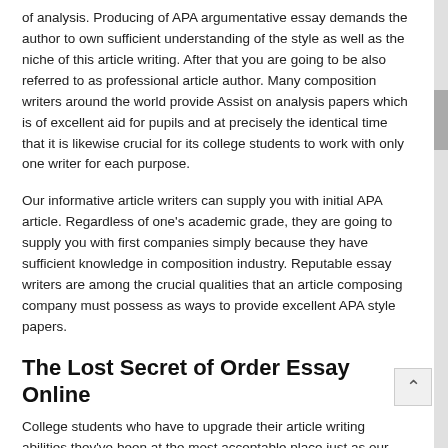of analysis. Producing of APA argumentative essay demands the author to own sufficient understanding of the style as well as the niche of this article writing. After that you are going to be also referred to as professional article author. Many composition writers around the world provide Assist on analysis papers which is of excellent aid for pupils and at precisely the identical time that it is likewise crucial for its college students to work with only one writer for each purpose.
Our informative article writers can supply you with initial APA article. Regardless of one's academic grade, they are going to supply you with first companies simply because they have sufficient knowledge in composition industry. Reputable essay writers are among the crucial qualities that an article composing company must possess as ways to provide excellent APA style papers.
The Lost Secret of Order Essay Online
College students who have to upgrade their article writing abilities they've been at the most acceptable place just as our